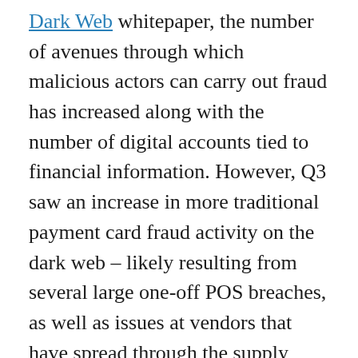Dark Web whitepaper, the number of avenues through which malicious actors can carry out fraud has increased along with the number of digital accounts tied to financial information. However, Q3 saw an increase in more traditional payment card fraud activity on the dark web – likely resulting from several large one-off POS breaches, as well as issues at vendors that have spread through the supply chain to affect both in-person and online purchases.
On the flip side, the number of cryptocurrency related breaches, particularly those tied to Ethereum, have highlighted a shift that may have legs – particularly since there is less